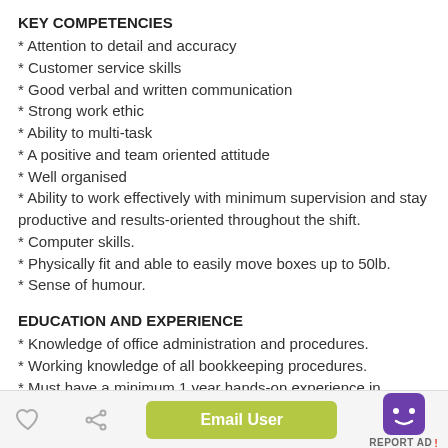KEY COMPETENCIES
* Attention to detail and accuracy
* Customer service skills
* Good verbal and written communication
* Strong work ethic
* Ability to multi-task
* A positive and team oriented attitude
* Well organised
* Ability to work effectively with minimum supervision and stay productive and results-oriented throughout the shift.
* Computer skills.
* Physically fit and able to easily move boxes up to 50lb.
* Sense of humour.
EDUCATION AND EXPERIENCE
* Knowledge of office administration and procedures.
* Working knowledge of all bookkeeping procedures.
* Must have a minimum 1 year hands-on experience in
Email User  REPORT AD